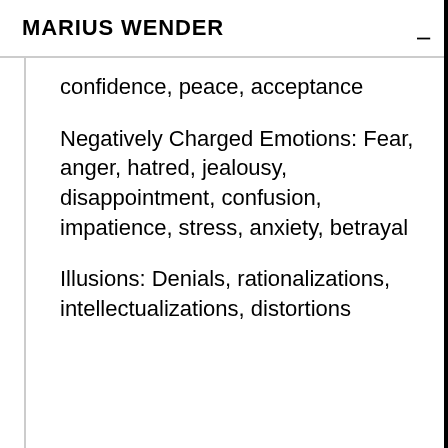MARIUS WENDER
confidence, peace, acceptance
Negatively Charged Emotions: Fear, anger, hatred, jealousy, disappointment, confusion, impatience, stress, anxiety, betrayal
Illusions: Denials, rationalizations, intellectualizations, distortions